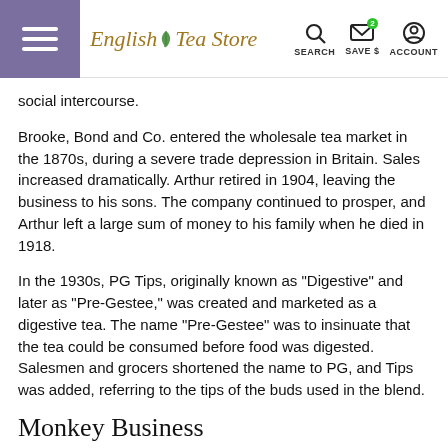English Tea Store — SEARCH, SAVE $, ACCOUNT
social intercourse.
Brooke, Bond and Co. entered the wholesale tea market in the 1870s, during a severe trade depression in Britain. Sales increased dramatically. Arthur retired in 1904, leaving the business to his sons. The company continued to prosper, and Arthur left a large sum of money to his family when he died in 1918.
In the 1930s, PG Tips, originally known as "Digestive" and later as "Pre-Gestee," was created and marketed as a digestive tea. The name "Pre-Gestee" was to insinuate that the tea could be consumed before food was digested. Salesmen and grocers shortened the name to PG, and Tips was added, referring to the tips of the buds used in the blend.
Monkey Business
Following Arthur Brooke's lead, PG Tips launched a solid advertising campaign involving chimpanzees in 1956. These TV commercials were among the first ever aired and proved to be very well-liked by